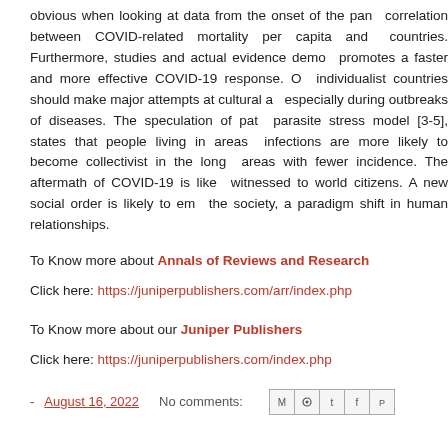obvious when looking at data from the onset of the pandemic. There is a clear correlation between COVID-related mortality per capita and collectivism of different countries. Furthermore, studies and actual evidence demonstrate that collectivism promotes a faster and more effective COVID-19 response. On the other hand, individualist countries should make major attempts at cultural adaptation to survive, especially during outbreaks of diseases. The speculation of pathogen prevalence and the parasite stress model [3-5], states that people living in areas with high incidence of infections are more likely to become collectivist in the long run than those living in areas with fewer incidence. The aftermath of COVID-19 is likely to be an unprecedented witnessed to world citizens. A new social order is likely to emerge, as a result within the society, a paradigm shift in human relationships.
To Know more about Annals of Reviews and Research
Click here: https://juniperpublishers.com/arr/index.php
To Know more about our Juniper Publishers
Click here: https://juniperpublishers.com/index.php
- August 16, 2022   No comments:   [social icons]